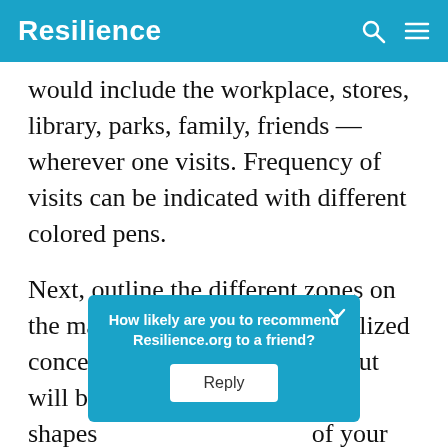Resilience
would include the workplace, stores, library, parks, family, friends — wherever one visits. Frequency of visits can be indicated with different colored pens.
Next, outline the different zones on the map. They won't be the idealized concentric circles of Figure 1, but will be of irregular shapes of your s ay be b The
[Figure (other): A popup dialog box overlaying the article text. It has a teal/blue background, white bold text reading 'How likely are you to recommend Resilience.org to a friend?' and a white Reply button. There is a chevron/down-arrow icon at the top-right of the popup.]